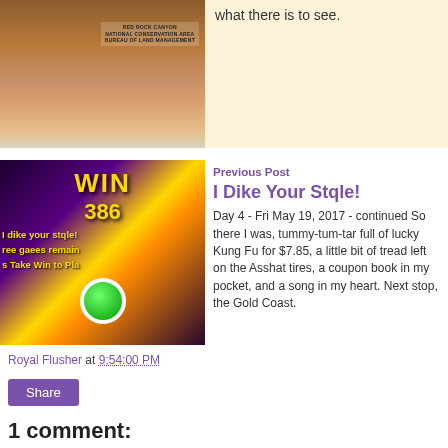[Figure (photo): Photo of Red Rock Canyon National Conservation Area sign on rock formation]
what there is to see.
[Figure (photo): Photo of a slot machine showing WIN 386, 'I dike your stqle', 'ree gaees remain', 'Take Win to Pla', with green spin button]
Previous Post
I Dike Your Stqle!
Day 4 - Fri May 19, 2017 - continued So there I was, tummy-tum-tar full of lucky Kung Fu for $7.85, a little bit of tread left on the Asshat tires, a coupon book in my pocket, and a song in my heart. Next stop, the Gold Coast.
Royal Flusher at 9:54:00 PM
Share
1 comment:
June 19, 2017 at 3:22 PM